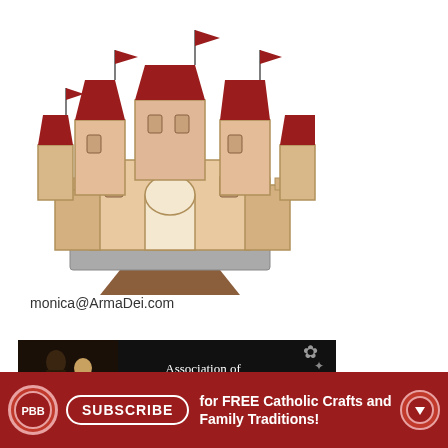[Figure (illustration): Cartoon illustration of a medieval castle with dark red/maroon towers and flags, beige stone walls, and a brown drawbridge path at the bottom]
monica@ArmaDei.com
[Figure (logo): Association of Catholic Women Bloggers banner: black background with decorative floral corner ornaments, text 'Association of Catholic Women Bloggers' with 'Catholic' in script font, and a dark photo of two women on the left]
[Figure (infographic): Red subscribe bar at bottom: PBB circle logo, SUBSCRIBE button, text 'for FREE Catholic Crafts and Family Traditions!' and a down-arrow circle button]